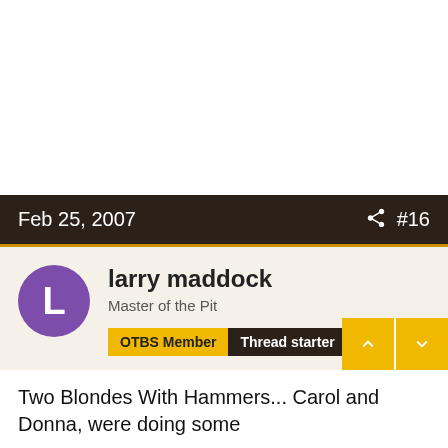Feb 25, 2007  #16
larry maddock
Master of the Pit
OTBS Member  Thread starter
Two Blondes With Hammers... Carol and Donna, were doing some
carpenter work on a Habitat for Humanity house. Carol, who was